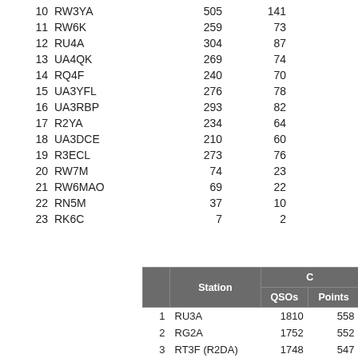10  RW3YA    505    141
11  RW6K     259    73
12  RU4A     304    87
13  UA4QK    269    74
14  RQ4F     240    70
15  UA3YFL   276    78
16  UA3RBP   293    82
17  R2YA     234    64
18  UA3DCE   210    60
19  R3ECL    273    76
20  RW7M      74    23
21  RW6MAO    69    22
22  RN5M      37    10
23  RK6C       7     2
|  | Station | C QSOs | C Points |
| --- | --- | --- | --- |
| 1 | RU3A | 1810 | 558 |
| 2 | RG2A | 1752 | 552 |
| 3 | RT3F (R2DA) | 1748 | 547 |